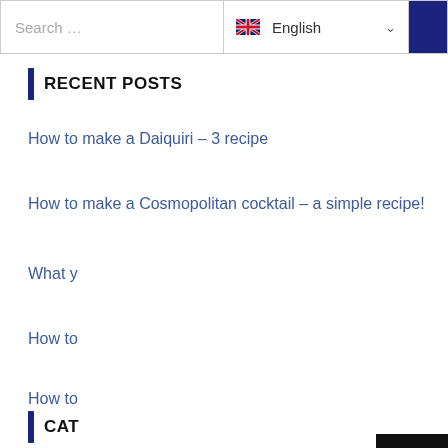Search ... | English
RECENT POSTS
How to make a Daiquiri – 3 recipe
How to make a Cosmopolitan cocktail – a simple recipe!
What y
How to
How to
Blackb
CAT